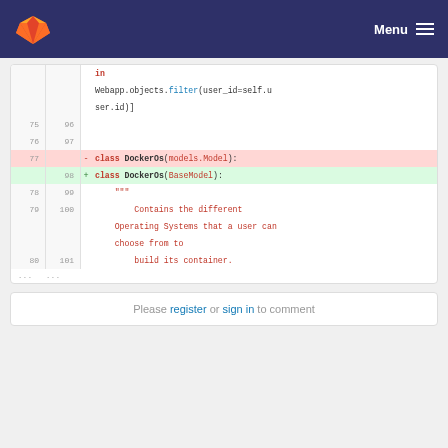GitLab — Menu
[Figure (screenshot): Code diff view showing Python class change from models.Model to BaseModel with docstring]
Please register or sign in to comment